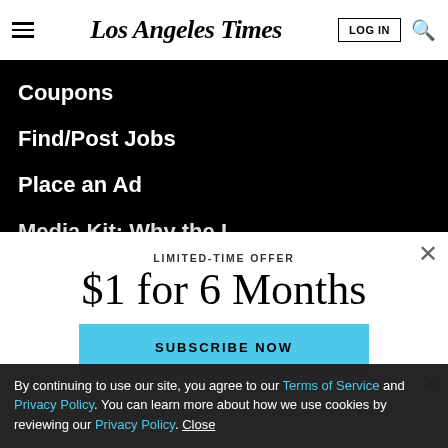Los Angeles Times — LOG IN [search icon]
Coupons
Find/Post Jobs
Place an Ad
Media Kit: Why the L.A. Times?
Bestcovery
LIMITED-TIME OFFER
$1 for 6 Months
SUBSCRIBE NOW
By continuing to use our site, you agree to our Terms of Service and Privacy Policy. You can learn more about how we use cookies by reviewing our Privacy Policy. Close